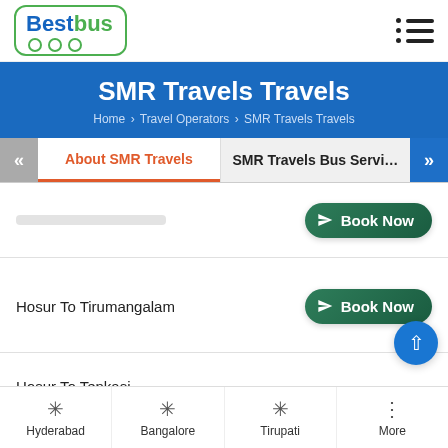[Figure (logo): BestBus logo with green bus icon]
SMR Travels Travels
Home > Travel Operators > SMR Travels Travels
About SMR Travels | SMR Travels Bus Servi...
Hosur To Tirumangalam
Book Now
Hosur To Tenkasi
Book Now
Hyderabad | Bangalore | Tirupati | More